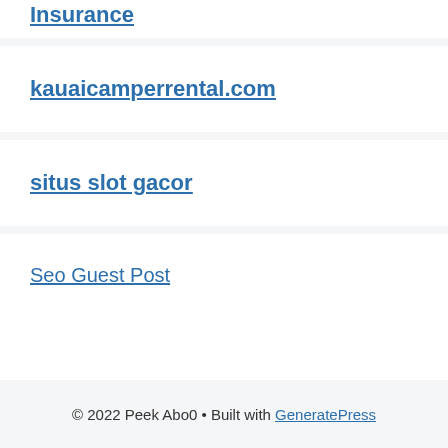Insurance
kauaicamperrental.com
situs slot gacor
Seo Guest Post
© 2022 Peek Abo0 • Built with GeneratePress